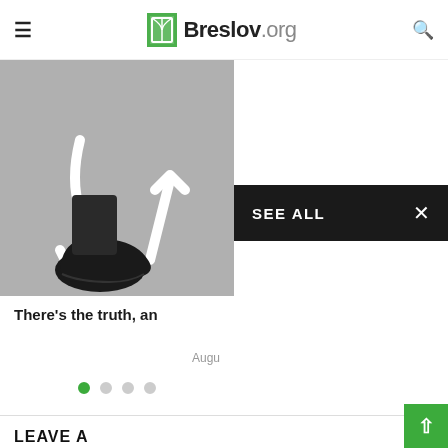Breslov.org
[Figure (photo): Black and white photo of a person's foot in a black shoe standing on pavement with white directional arrows]
SEE ALL
There's the truth, an
Augu
LEAVE A